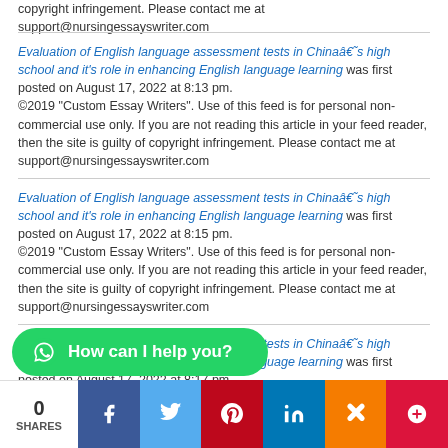copyright infringement. Please contact me at support@nursingessayswriter.com
Evaluation of English language assessment tests in Chinaâ€˜s high school and it's role in enhancing English language learning was first posted on August 17, 2022 at 8:13 pm. ©2019 "Custom Essay Writers". Use of this feed is for personal non-commercial use only. If you are not reading this article in your feed reader, then the site is guilty of copyright infringement. Please contact me at support@nursingessayswriter.com
Evaluation of English language assessment tests in Chinaâ€˜s high school and it's role in enhancing English language learning was first posted on August 17, 2022 at 8:15 pm. ©2019 "Custom Essay Writers". Use of this feed is for personal non-commercial use only. If you are not reading this article in your feed reader, then the site is guilty of copyright infringement. Please contact me at support@nursingessayswriter.com
Evaluation of English language assessment tests in Chinaâ€˜s high school and it's role in enhancing English language learning was first posted on August 17, 2022 at 8:17 pm. ©2019 "Custom Essay Writers". Use of this feed is for personal non-commercial use only. If you are not reading this article in your feed reader, then the site is guilty of copyright infringement. Please contact me at support@nursingessayswriter.com
Evaluation of English language assessment tests in Chinaâ€˜s high school and it's role in enhancing English language learning was first posted on August 17, 2022 at 8:19 pm.